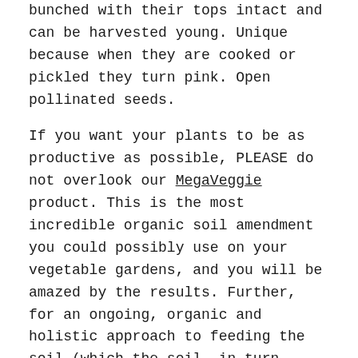bunched with their tops intact and can be harvested young. Unique because when they are cooked or pickled they turn pink. Open pollinated seeds.
If you want your plants to be as productive as possible, PLEASE do not overlook our MegaVeggie product. This is the most incredible organic soil amendment you could possibly use on your vegetable gardens, and you will be amazed by the results. Further, for an ongoing, organic and holistic approach to feeding the soil (which the soil, in turn, will feed your plants), try MegaFish and MegaSea. These 2 products together will provide all the primary plant nutrients, protein, trace minerals, food for microbial life and more, that will help produce the most abundant crop you've ever seen. See reviews of our products on Dave's Garden.
For planting instructions and growing tips, click How To Grow Onions